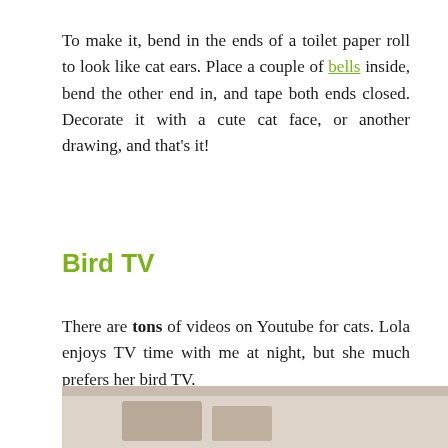To make it, bend in the ends of a toilet paper roll to look like cat ears. Place a couple of bells inside, bend the other end in, and tape both ends closed. Decorate it with a cute cat face, or another drawing, and that's it!
Bird TV
There are tons of videos on Youtube for cats. Lola enjoys TV time with me at night, but she much prefers her bird TV.
[Figure (photo): Bottom portion of a photo showing what appears to be a cat watching bird TV, partially cropped at the bottom of the page.]